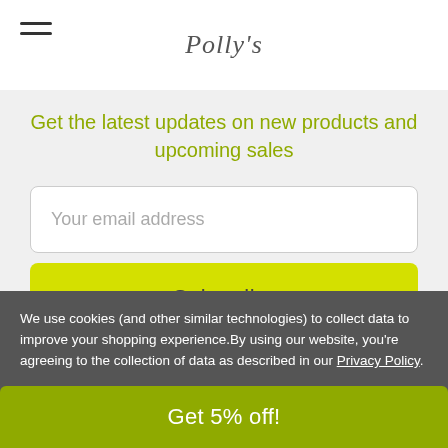Polly's
Get the latest updates on new products and upcoming sales
Your email address
Subscribe
We use cookies (and other similar technologies) to collect data to improve your shopping experience.By using our website, you're agreeing to the collection of data as described in our Privacy Policy.
Get 5% off!